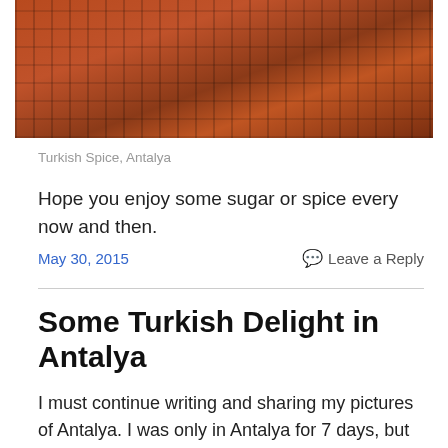[Figure (photo): Photo of decorative Turkish spice containers or fabric pouches with red and black patterned textile, arranged on a tiled surface, partially cropped at top.]
Turkish Spice, Antalya
Hope you enjoy some sugar or spice every now and then.
May 30, 2015
Leave a Reply
Some Turkish Delight in Antalya
I must continue writing and sharing my pictures of Antalya.  I was only in Antalya for 7 days, but have so many pictures that I took, and I was only in the Old City for about 4 hours, but also took more than enough pictures.  But